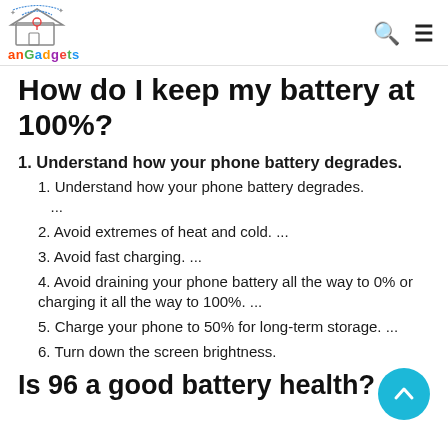anGadgets
How do I keep my battery at 100%?
1. Understand how your phone battery degrades.
1. Understand how your phone battery degrades. ...
2. Avoid extremes of heat and cold. ...
3. Avoid fast charging. ...
4. Avoid draining your phone battery all the way to 0% or charging it all the way to 100%. ...
5. Charge your phone to 50% for long-term storage. ...
6. Turn down the screen brightness.
Is 96 a good battery health?